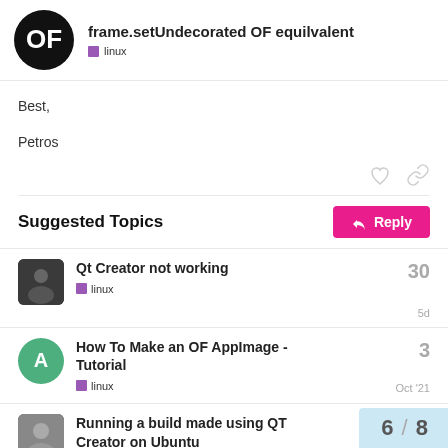frame.setUndecorated OF equilvalent — linux
Best,

Petros
Suggested Topics
Qt Creator not working — linux — 30 replies — 5d
How To Make an OF AppImage - Tutorial — linux — 3 replies — Oct '21
Running a build made using QT Creator on Ubuntu
6 / 8